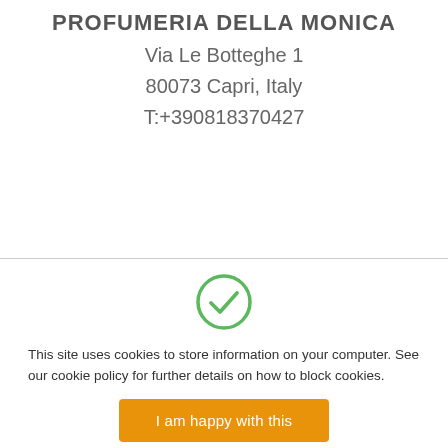PROFUMERIA DELLA MONICA
Via Le Botteghe 1
80073 Capri, Italy
T:+390818370427
[Figure (illustration): Green circle with a white checkmark inside, indicating acceptance or confirmation.]
This site uses cookies to store information on your computer. See our cookie policy for further details on how to block cookies.
I am happy with this